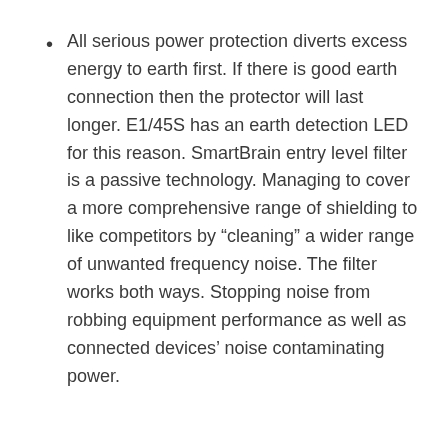All serious power protection diverts excess energy to earth first. If there is good earth connection then the protector will last longer. E1/45S has an earth detection LED for this reason. SmartBrain entry level filter is a passive technology. Managing to cover a more comprehensive range of shielding to like competitors by “cleaning” a wider range of unwanted frequency noise. The filter works both ways. Stopping noise from robbing equipment performance as well as connected devices’ noise contaminating power.